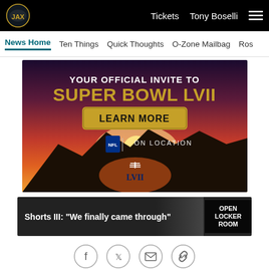Jaguars navigation — Tickets | Tony Boselli | Menu
News Home | Ten Things | Quick Thoughts | O-Zone Mailbag | Ros...
[Figure (photo): Super Bowl LVII advertisement banner: 'YOUR OFFICIAL INVITE TO SUPER BOWL LVII' with a LEARN MORE button, NFL On Location logo, and a football on rocky terrain at sunset.]
[Figure (photo): News card: Shorts III: 'We finally came through' with OPEN LOCKER ROOM badge on right side.]
Social share icons: Facebook, Twitter, Email, Link